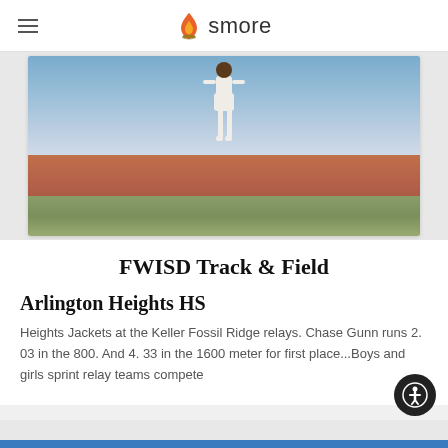smore
[Figure (photo): A track and field athlete standing on a running track with red surface and green field in the background]
FWISD Track & Field
Arlington Heights HS
Heights Jackets at the Keller Fossil Ridge relays. Chase Gunn runs 2. 03 in the 800. And 4. 33 in the 1600 meter for first place...Boys and girls sprint relay teams compete